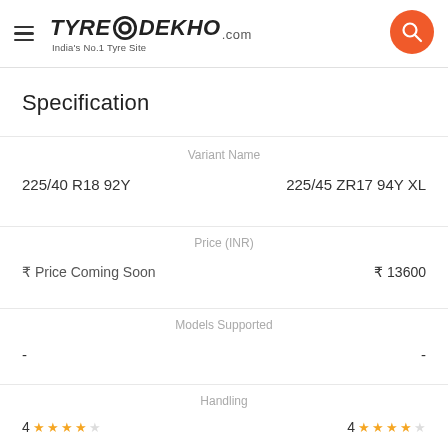TyreDekho.com — India's No.1 Tyre Site
Specification
| Variant Name |  |  |
| --- | --- | --- |
| 225/40 R18 92Y | Variant Name | 225/45 ZR17 94Y XL |
| ₹ Price Coming Soon | Price (INR) | ₹ 13600 |
| - | Models Supported | - |
| 4 ★★★★☆ | Handling | 4 ★★★★☆ |
| 4 ★★★★☆ | Fuel Saving | 4 ★★★★☆ |